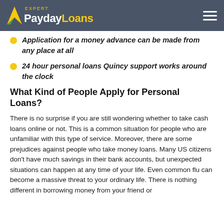Expert PaydayLoans
Application for a money advance can be made from any place at all
24 hour personal loans Quincy support works around the clock
What Kind of People Apply for Personal Loans?
There is no surprise if you are still wondering whether to take cash loans online or not. This is a common situation for people who are unfamiliar with this type of service. Moreover, there are some prejudices against people who take money loans. Many US citizens don't have much savings in their bank accounts, but unexpected situations can happen at any time of your life. Even common flu can become a massive threat to your ordinary life. There is nothing different in borrowing money from your friend or